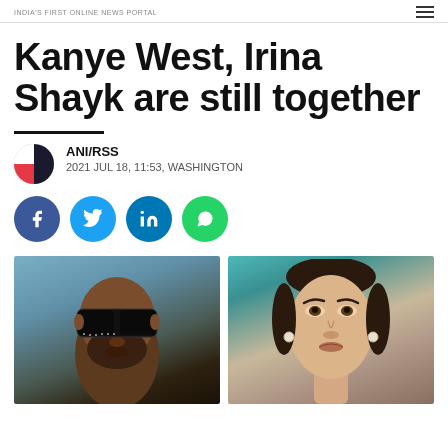INDIA'S FIRST ONLINE NEWS PORTAL
Kanye West, Irina Shayk are still together
ANI/RSS
2021 JUL 18, 11:53, WASHINGTON
[Figure (infographic): Social media share buttons: Facebook, Twitter, LinkedIn, WhatsApp]
[Figure (photo): Side-by-side photos of Kanye West (left, wearing dark sunglasses) and Irina Shayk (right, with hair pulled back), used as article header images.]